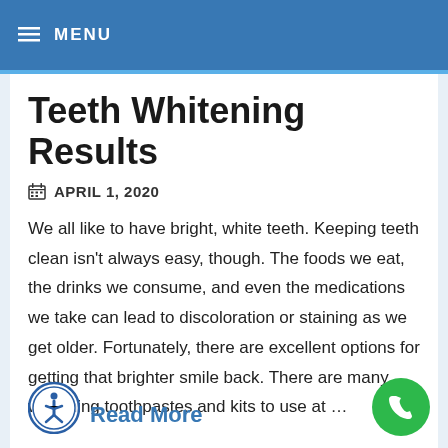MENU
Teeth Whitening Results
APRIL 1, 2020
We all like to have bright, white teeth. Keeping teeth clean isn't always easy, though. The foods we eat, the drinks we consume, and even the medications we take can lead to discoloration or staining as we get older. Fortunately, there are excellent options for getting that brighter smile back. There are many whitening toothpastes and kits to use at …
Read More